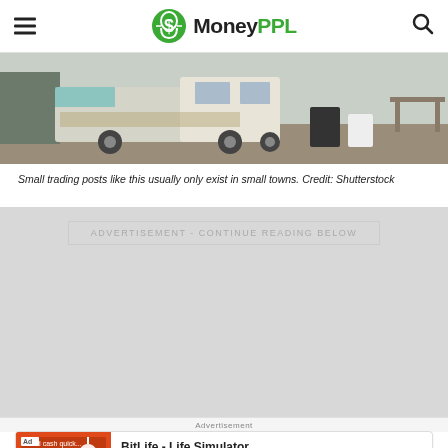MoneyPPL
[Figure (photo): An old rusted white truck/van parked at a small trading post on gravel, with various items and a green building in the background.]
Small trading posts like this usually only exist in small towns. Credit: Shutterstock
ADVERTISEMENT - CONTINUE READING BELOW
Advertisement
[Figure (screenshot): BitLife - Life Simulator app advertisement with Install button]